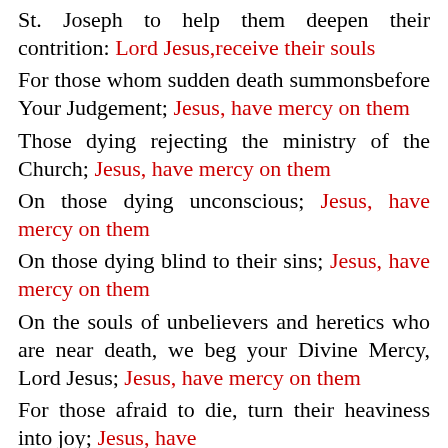St. Joseph to help them deepen their contrition: Lord Jesus,receive their souls
For those whom sudden death summonsbefore Your Judgement; Jesus, have mercy on them
Those dying rejecting the ministry of the Church; Jesus, have mercy on them
On those dying unconscious; Jesus, have mercy on them
On those dying blind to their sins; Jesus, have mercy on them
On the souls of unbelievers and heretics who are near death, we beg your Divine Mercy, Lord Jesus; Jesus, have mercy on them
For those afraid to die, turn their heaviness into joy; Jesus, have